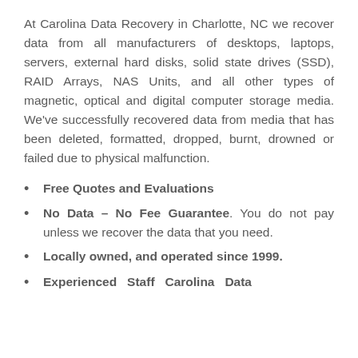At Carolina Data Recovery in Charlotte, NC we recover data from all manufacturers of desktops, laptops, servers, external hard disks, solid state drives (SSD), RAID Arrays, NAS Units, and all other types of magnetic, optical and digital computer storage media. We've successfully recovered data from media that has been deleted, formatted, dropped, burnt, drowned or failed due to physical malfunction.
Free Quotes and Evaluations
No Data – No Fee Guarantee. You do not pay unless we recover the data that you need.
Locally owned, and operated since 1999.
Experienced Staff Carolina Data...